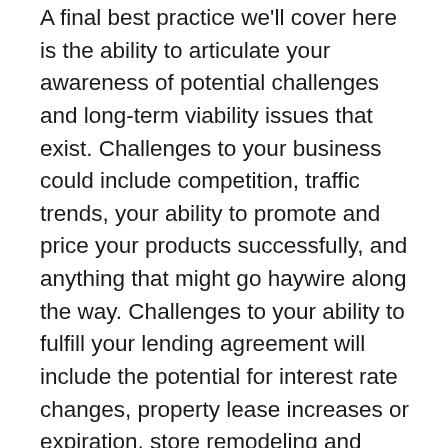A final best practice we'll cover here is the ability to articulate your awareness of potential challenges and long-term viability issues that exist. Challenges to your business could include competition, traffic trends, your ability to promote and price your products successfully, and anything that might go haywire along the way. Challenges to your ability to fulfill your lending agreement will include the potential for interest rate changes, property lease increases or expiration, store remodeling and upgrading requirements, ability to meet loan maturity dates, etc. Lenders need to know that you're aware of these potential challenges and have a plan in place to deal with them. Think these things through and be able to talk freely about them with your lenders.
In sum, getting financing to expand your restaurant's brand has a lot to do with coming to them with a clear plan